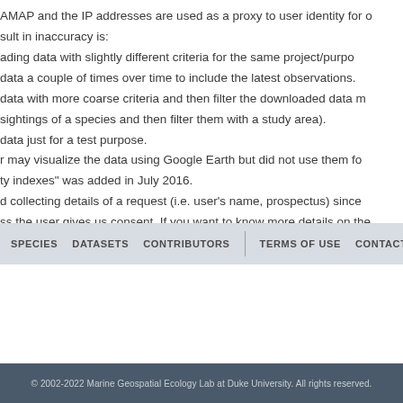AMAP and the IP addresses are used as a proxy to user identity for o sult in inaccuracy is: ading data with slightly different criteria for the same project/purpo data a couple of times over time to include the latest observations. data with more coarse criteria and then filter the downloaded data m sightings of a species and then filter them with a study area). data just for a test purpose. r may visualize the data using Google Earth but did not use them fo ty indexes" was added in July 2016. d collecting details of a request (i.e. user's name, prospectus) since ss the user gives us consent. If you want to know more details on th ady. We will try connecting you with the user in question.
SPECIES   DATASETS   CONTRIBUTORS   |   TERMS OF USE   CONTACT US   U
© 2002-2022 Marine Geospatial Ecology Lab at Duke University. All rights reserved.